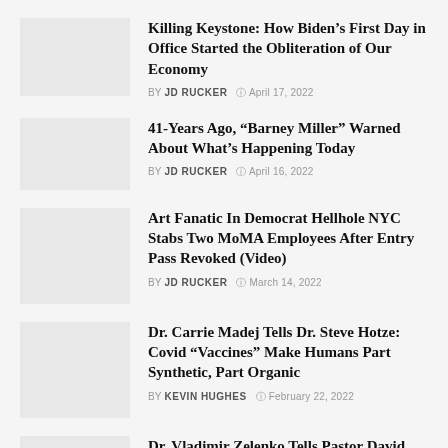Killing Keystone: How Biden’s First Day in Office Started the Obliteration of Our Economy | BY JD RUCKER | April 17, 2022
41-Years Ago, “Barney Miller” Warned About What’s Happening Today | BY JD RUCKER | April 16, 2022
Art Fanatic In Democrat Hellhole NYC Stabs Two MoMA Employees After Entry Pass Revoked (Video) | BY JD RUCKER | March 14, 2022
Dr. Carrie Madej Tells Dr. Steve Hotze: Covid “Vaccines” Make Humans Part Synthetic, Part Organic | BY KEVIN HUGHES | February 22, 2022
Dr. Vladimir Zelenko Tells Pastor David